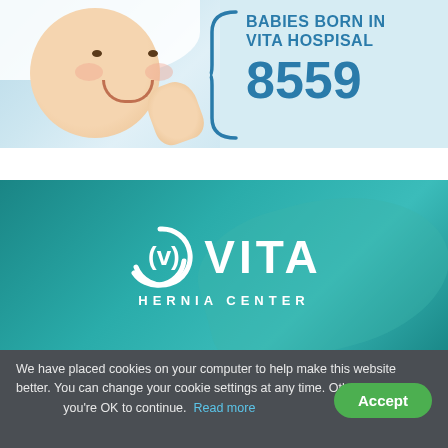[Figure (photo): Baby smiling in a light blue background with white towel/hood, with a blue curly brace and the text 'BABIES BORN IN VITA HOSPISAL 8559']
[Figure (logo): Vita Hernia Center logo on teal/turquoise background with stylized V in circular swoosh mark]
We have placed cookies on your computer to help make this website better. You can change your cookie settings at any time. Otherwise, we'll assume you're OK to continue. Read more